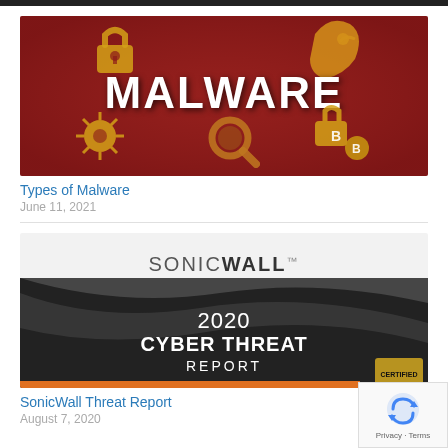[Figure (illustration): Red background image with cybersecurity icons (padlock, Trojan horse chess piece, virus, magnifying glass, bitcoin/cryptocurrency lock) and the word MALWARE in large white bold text in the center.]
Types of Malware
June 11, 2021
[Figure (illustration): SonicWall branded cover image with dark wave design on a gray background. Text reads: SONICWALL 2020 CYBER THREAT REPORT. Orange stripe at the bottom. Small certification badge at bottom right.]
SonicWall Threat Report
August 7, 2020